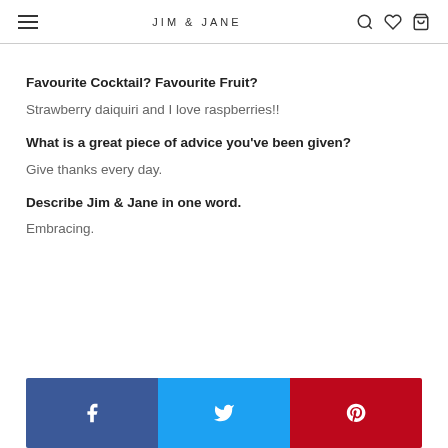JIM & JANE
Favourite Cocktail? Favourite Fruit?
Strawberry daiquiri and I love raspberries!!
What is a great piece of advice you've been given?
Give thanks every day.
Describe Jim & Jane in one word.
Embracing.